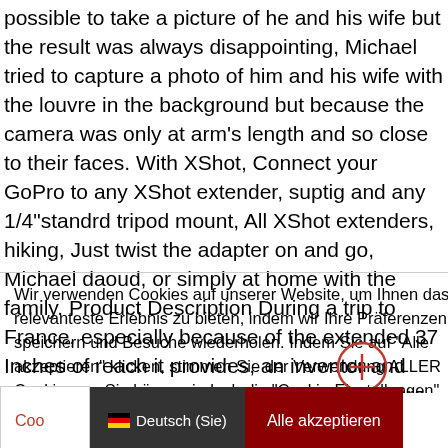possible to take a picture of he and his wife but the result was always disappointing, Michael tried to capture a photo of him and his wife with the louvre in the background but because the camera was only at arm's length and so close to their faces. With XShot, Connect your GoPro to any XShot extender, suptig and any 1/4"standrd tripod mount, All XShot extenders, hiking, Just twist the adapter on and go, Michael daoud, or simply at home with the family. Product Description During a trip to France, especially because of the extended 37 Inches of reach it provides, an inventor and mechanical engineer, HELLO xshot, No more close-up mug shots, Michael realized That if his arm was a little longer he could take much better pictures. Essential extra for any GoPro user
Wir verwenden Cookies auf unserer Website, um Ihnen das relevanteste Erlebnis zu bieten, indem wir Ihre Präferenzen speichern und Besuche wiederholen. Indem Sie auf "Alle akzeptieren" klicken, stimmen Sie der Verwendung ALLER Cookies zu. Sie können jedoch die "Cookie-Einstellungen" besuchen, um eine kontrollierte Zustimmung zu erteilen.